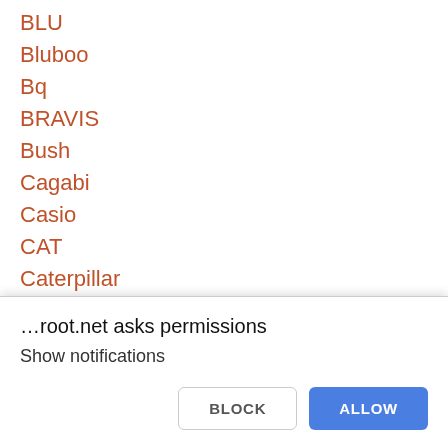BLU
Bluboo
Bq
BRAVIS
Bush
Cagabi
Casio
CAT
Caterpillar
Commodore
Connect
…root.net asks permissions
Show notifications
BLOCK
ALLOW